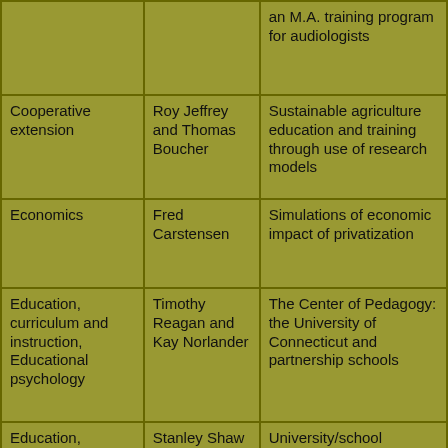| Department/Field | Person | Topic/Project |
| --- | --- | --- |
|  |  | an M.A. training program for audiologists |
| Cooperative extension | Roy Jeffrey and Thomas Boucher | Sustainable agriculture education and training through use of research models |
| Economics | Fred Carstensen | Simulations of economic impact of privatization |
| Education, curriculum and instruction, Educational psychology | Timothy Reagan and Kay Norlander | The Center of Pedagogy: the University of Connecticut and partnership schools |
| Education, educational psychology | Stanley Shaw | University/school partnerships: leadership preparation dedicated to collaboration, urban education and inclusion |